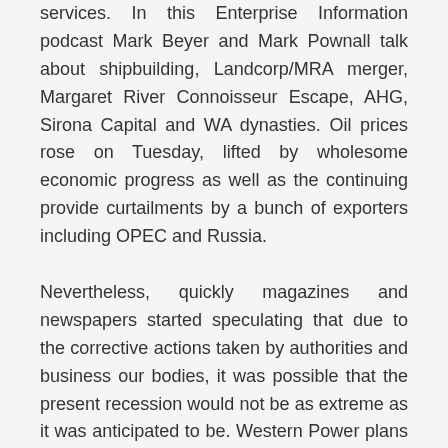services. In this Enterprise Information podcast Mark Beyer and Mark Pownall talk about shipbuilding, Landcorp/MRA merger, Margaret River Connoisseur Escape, AHG, Sirona Capital and WA dynasties. Oil prices rose on Tuesday, lifted by wholesome economic progress as well as the continuing provide curtailments by a bunch of exporters including OPEC and Russia.
Nevertheless, quickly magazines and newspapers started speculating that due to the corrective actions taken by authorities and business our bodies, it was possible that the present recession would not be as extreme as it was anticipated to be. Western Power plans to scale back spending by nearly $1 billion in the next 5 years compared to the 5 years simply gone, based on a proposal by the state-owned network operator to the state's economic regulator. Independent Perth theatre company The Last Nice Hunt